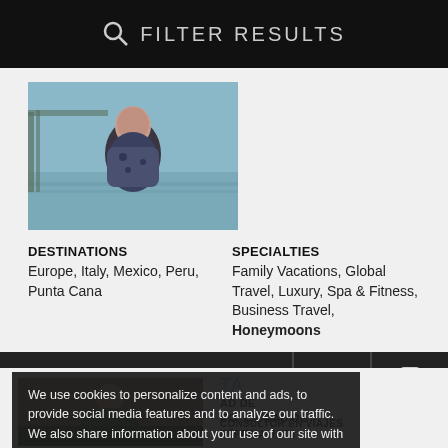FILTER RESULTS
[Figure (photo): Portrait photo of a woman standing in front of a body of water]
DESTINATIONS
Europe, Italy, Mexico, Peru, Punta Cana
SPECIALTIES
Family Vacations, Global Travel, Luxury, Spa & Fitness, Business Travel, Honeymoons
VIEW PROFILE
EMAIL
CALL
We use cookies to personalize content and ads, to provide social media features and to analyze our traffic. We also share information about your use of our site with our social media, advertising and analytics partners.  More Info.
Accept
MEXICO CIUDAD DE MEXICO, CIUDAD DE MEXICO
CONSULTOR EN VIAJES ESPECIALISTA